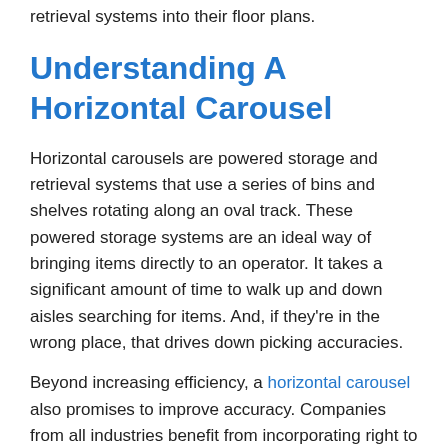retrieval systems into their floor plans.
Understanding A Horizontal Carousel
Horizontal carousels are powered storage and retrieval systems that use a series of bins and shelves rotating along an oval track. These powered storage systems are an ideal way of bringing items directly to an operator. It takes a significant amount of time to walk up and down aisles searching for items. And, if they're in the wrong place, that drives down picking accuracies.
Beyond increasing efficiency, a horizontal carousel also promises to improve accuracy. Companies from all industries benefit from incorporating right to light technology to light